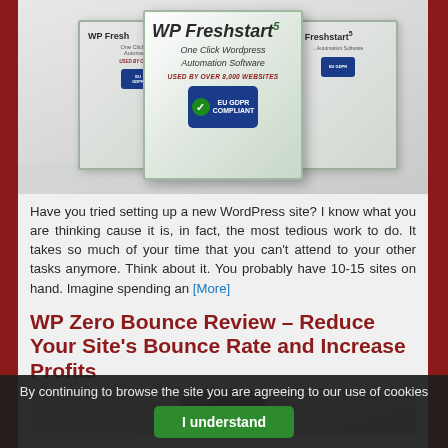[Figure (photo): Product boxes for WP Freshstart 5, shown as three stacked software box images with green and white design, EU GDPR Compliant badge, and tagline 'One Click WordPress Automation Software']
Have you tried setting up a new WordPress site? I know what you are thinking cause it is, in fact, the most tedious work to do. It takes so much of your time that you can't attend to your other tasks anymore. Think about it. You probably have 10-15 sites on hand. Imagine spending an [More]
WP Zero Bounce Review – Reduce Your Site's Bounce Rate and Increase Profits
[Figure (photo): Partial product image for WP Zero Bounce, cut off at bottom of page]
By continuing to browse the site you are agreeing to our use of cookies
I understand